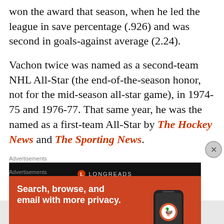won the award that season, when he led the league in save percentage (.926) and was second in goals-against average (2.24).
Vachon twice was named as a second-team NHL All-Star (the end-of-the-season honor, not for the mid-season all-star game), in 1974-75 and 1976-77. That same year, he was the named as a first-team All-Star by The Hockey News and The Sporting News.
[Figure (other): Longreads advertisement banner with dark background showing Longreads logo and text 'Read anything great lately?']
[Figure (other): DuckDuckGo advertisement with orange background showing headline 'Search, browse, and email with more privacy.' with 'All in One Free App' button and phone graphic with DuckDuckGo logo]